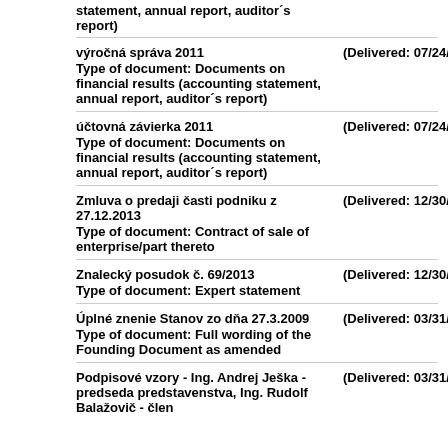statement, annual report, auditor´s report)
výročná správa 2011 (Delivered: 07/24/2013)
Type of document: Documents on financial results (accounting statement, annual report, auditor´s report)
účtovná závierka 2011 (Delivered: 07/24/2013)
Type of document: Documents on financial results (accounting statement, annual report, auditor´s report)
Zmluva o predaji časti podniku z 27.12.2013 (Delivered: 12/30/2013)
Type of document: Contract of sale of enterprise/part thereto
Znalecký posudok č. 69/2013 (Delivered: 12/30/2013)
Type of document: Expert statement
Úplné znenie Stanov zo dňa 27.3.2009 (Delivered: 03/31/2009)
Type of document: Full wording of the Founding Document as amended
Podpisové vzory - Ing. Andrej Ješka - predseda predstavenstva, Ing. Rudolf Balažovič - člen (Delivered: 03/31/2009)